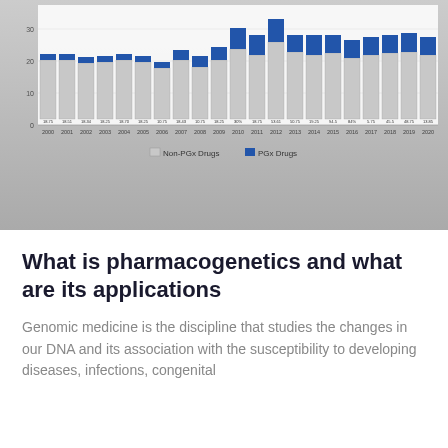[Figure (stacked-bar-chart): FDA Drug Approvals 2000-2020]
What is pharmacogenetics and what are its applications
Genomic medicine is the discipline that studies the changes in our DNA and its association with the susceptibility to developing diseases, infections, congenital